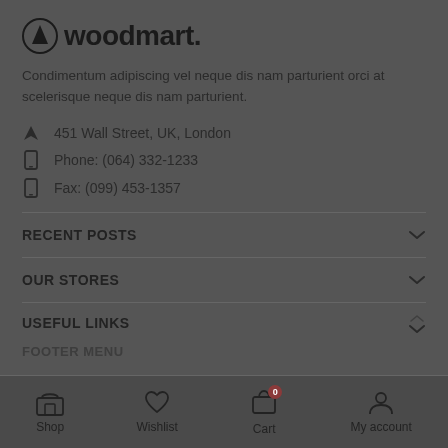woodmart.
Condimentum adipiscing vel neque dis nam parturient orci at scelerisque neque dis nam parturient.
451 Wall Street, UK, London
Phone: (064) 332-1233
Fax: (099) 453-1357
RECENT POSTS
OUR STORES
USEFUL LINKS
FOOTER MENU
Shop  Wishlist  Cart  My account